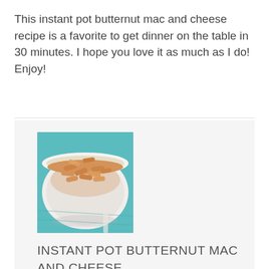This instant pot butternut mac and cheese recipe is a favorite to get dinner on the table in 30 minutes. I hope you love it as much as I do! Enjoy!
[Figure (photo): A white bowl filled with penne pasta in orange butternut squash cheese sauce, sitting on a teal/turquoise cloth napkin]
INSTANT POT BUTTERNUT MAC AND CHEESE